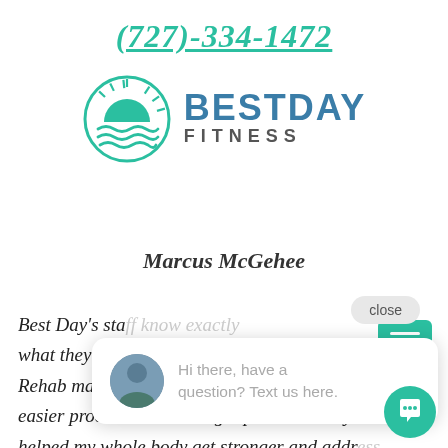(727)-334-1472
[Figure (logo): Best Day Fitness logo with circular sun/waves icon and BESTDAY FITNESS text in teal/slate blue]
[Figure (screenshot): Green hamburger menu button (three horizontal bars)]
Marcus McGehee
close
Best Day's sta... what they are... Rehab made m... easier process than I thought possible. They've also helped my whole body get stronger and addr... issues that were causing me back pain for a long time.
[Figure (screenshot): Chat popup with trainer avatar and text: Hi there, have a question? Text us here.]
[Figure (screenshot): Teal circular chat icon button at bottom right]